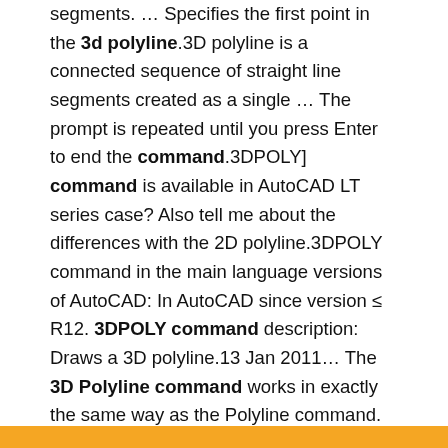segments. … Specifies the first point in the 3d polyline.3D polyline is a connected sequence of straight line segments created as a single … The prompt is repeated until you press Enter to end the command.3DPOLY] command is available in AutoCAD LT series case? Also tell me about the differences with the 2D polyline.3DPOLY command in the main language versions of AutoCAD: In AutoCAD since version ≤ R12. 3DPOLY command description: Draws a 3D polyline.13 Jan 2011… The 3D Polyline command works in exactly the same way as the Polyline command. The main difference between a normal polyline and a 3D …